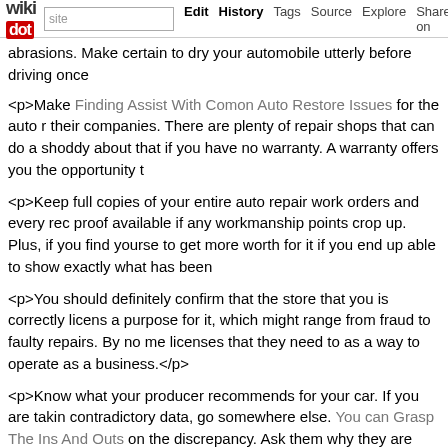wikidot | site | Edit | History | Tags | Source | Explore | Share on [twitter]
abrasions. Make certain to dry your automobile utterly before driving once
<p>Make Finding Assist With Comon Auto Restore Issues for the auto r their companies. There are plenty of repair shops that can do a shoddy about that if you have no warranty. A warranty offers you the opportunity t
<p>Keep full copies of your entire auto repair work orders and every rec proof available if any workmanship points crop up. Plus, if you find yourse to get more worth for it if you end up able to show exactly what has been
<p>You should definitely confirm that the store that you is correctly licens a purpose for it, which might range from fraud to faulty repairs. By no me licenses that they need to as a way to operate as a business.</p>
<p>Know what your producer recommends for your car. If you are takin contradictory data, go somewhere else. You can Grasp The Ins And Outs on the discrepancy. Ask them why they are saying one thing totally differ be a very good reason, or they could possibly be merely attempting to talk
<p>Don't ignore a &quot;Verify Engine&quot; light. Many individuals ass automotive with no apparent points. However a test engine gentle would inside check failed. It is best to get it seemed into immediately, otherwis down the street.</p>
<p>By no means feel like it's a must to go to your supplier for any kind o seller could possibly be rather expensive in contrast an unaffiliated (yet n shop. Do your homework about where you're contemplating going, after </p>